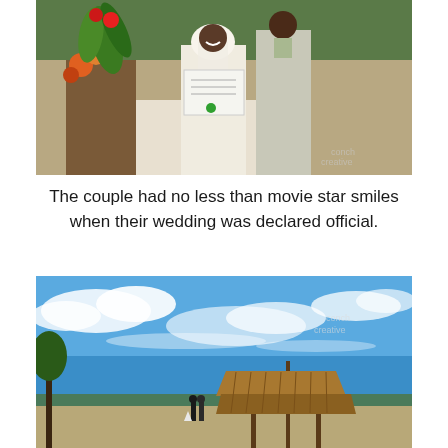[Figure (photo): A bride in a white veil and groom in a grey suit smiling at a table on a beach, holding up their marriage certificate. Tropical flowers visible in foreground.]
The couple had no less than movie star smiles when their wedding was declared official.
[Figure (photo): Wide landscape shot of a couple standing near a thatched-roof hut on the beach under a dramatic blue sky with fluffy white clouds.]